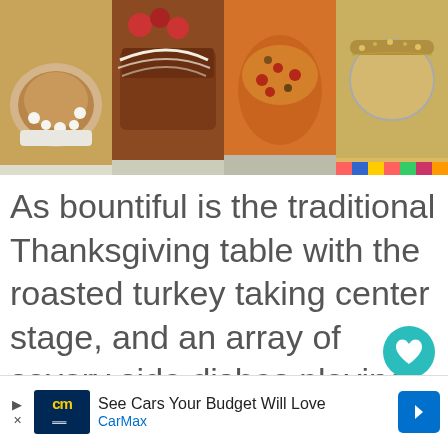[Figure (photo): Collage of four Thanksgiving baked goods/desserts side by side: a cream-topped cake/pie, a glazed loaf bread, a cranberry muffin/bread, and a crumble-topped dish.]
As bountiful is the traditional Thanksgiving table with the roasted turkey taking center stage, and an array of savory side dishes playing their supporting role, we still anxiously await the finale of this abundant meal. No matter how stuffed we are, those
[Figure (other): UI overlay elements: a teal heart/favorite button, a count badge showing '1', and a share button.]
[Figure (other): Advertisement banner for CarMax: 'See Cars Your Budget Will Love' with CarMax logo and navigation arrow icon.]